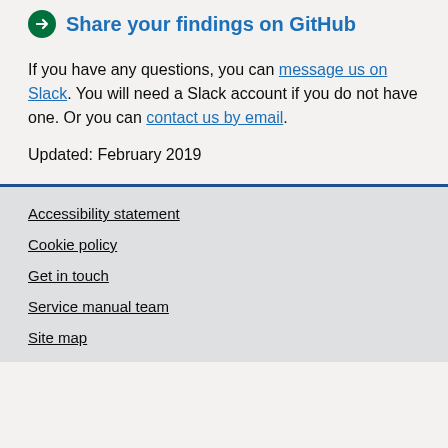Share your findings on GitHub
If you have any questions, you can message us on Slack. You will need a Slack account if you do not have one. Or you can contact us by email.
Updated: February 2019
Accessibility statement
Cookie policy
Get in touch
Service manual team
Site map